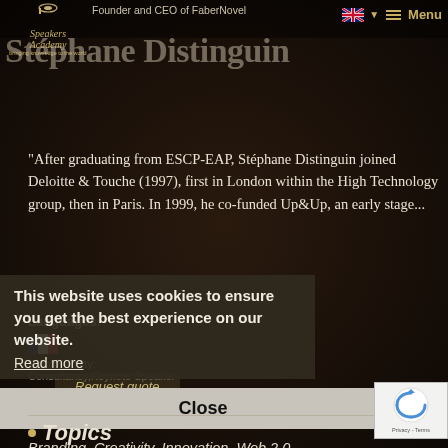Speakers Academy — Founder and CEO of FaberNovel — Stéphane Distinguin — Menu
Stéphane Distinguin
After graduating from ESCP-EAP, Stéphane Distinguin joined Deloitte & Touche (1997), first in London within the High Technology group, then in Paris. In 1999, he co-funded Up&Up, an early stage...
Languages:
Employability: Consultancy,Keynote Speaker
This website uses cookies to ensure you get the best experience on our website.
Read more
Request quote
Close
Topics
Branding, Creativity, Innovation, Web 2.0